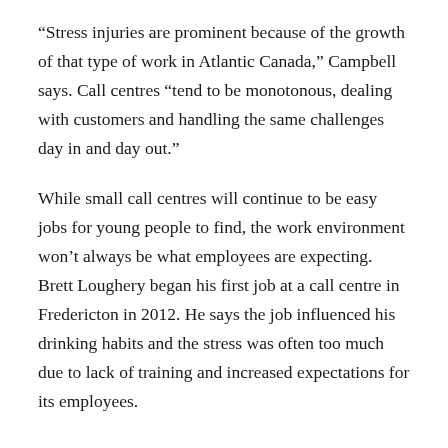“Stress injuries are prominent because of the growth of that type of work in Atlantic Canada,” Campbell says. Call centres “tend to be monotonous, dealing with customers and handling the same challenges day in and day out.”
While small call centres will continue to be easy jobs for young people to find, the work environment won’t always be what employees are expecting. Brett Loughery began his first job at a call centre in Fredericton in 2012. He says the job influenced his drinking habits and the stress was often too much due to lack of training and increased expectations for its employees.